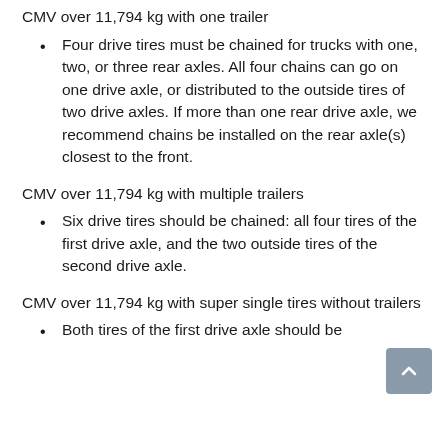CMV over 11,794 kg with one trailer
Four drive tires must be chained for trucks with one, two, or three rear axles. All four chains can go on one drive axle, or distributed to the outside tires of two drive axles. If more than one rear drive axle, we recommend chains be installed on the rear axle(s) closest to the front.
CMV over 11,794 kg with multiple trailers
Six drive tires should be chained: all four tires of the first drive axle, and the two outside tires of the second drive axle.
CMV over 11,794 kg with super single tires without trailers
Both tires of the first drive axle should be